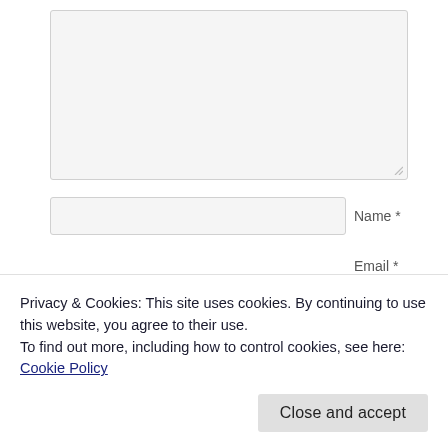[Figure (screenshot): A large empty textarea input field with a light gray background and resize handle in the bottom-right corner.]
Name *
[Figure (screenshot): A text input field for Name, light gray background.]
Email *
[Figure (screenshot): A partial text input field for a third form field, partially hidden behind cookie banner.]
Privacy & Cookies: This site uses cookies. By continuing to use this website, you agree to their use.
To find out more, including how to control cookies, see here: Cookie Policy
Close and accept
Notify me of new comments via email.